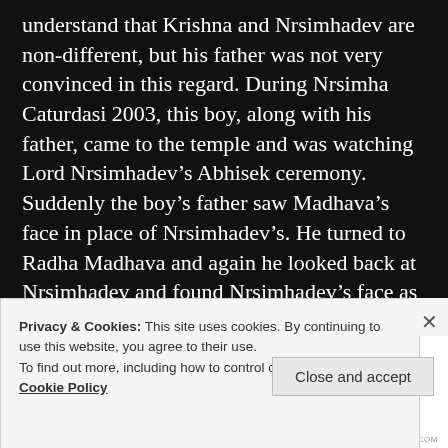understand that Krishna and Nrsimhadev are non-different, but his father was not very convinced in this regard. During Nrsimha Caturdasi 2003, this boy, along with his father, came to the temple and was watching Lord Nrsimhadev’s Abhisek ceremony. Suddenly the boy’s father saw Madhava’s face in place of Nrsimhadev’s. He turned to Radha Madhava and again he looked back at Nrsimhadev and found Nrsimhadev’s face as Madhava’s still. This contineud for about 20 seconds. In this
Privacy & Cookies: This site uses cookies. By continuing to use this website, you agree to their use.
To find out more, including how to control cookies, see here:
Cookie Policy
Close and accept